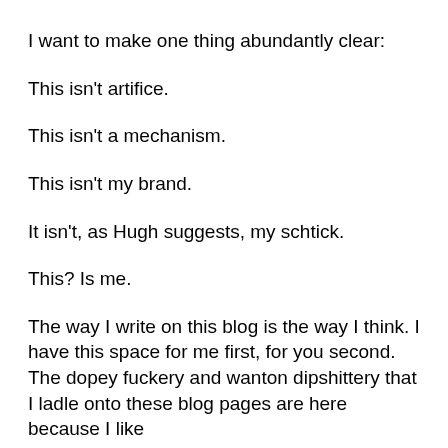I want to make one thing abundantly clear:
This isn't artifice.
This isn't a mechanism.
This isn't my brand.
It isn't, as Hugh suggests, my schtick.
This? Is me.
The way I write on this blog is the way I think. I have this space for me first, for you second. The dopey fuckery and wanton dipshittery that I ladle onto these blog pages are here because I like